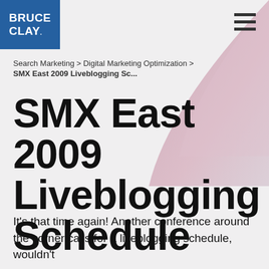Bruce Clay. [logo]
Search Marketing > Digital Marketing Optimization > SMX East 2009 Liveblogging Sc...
SMX East 2009 Liveblogging Schedule
It's that time again! Another conference around the corner calls for a liveblogging schedule, wouldn't